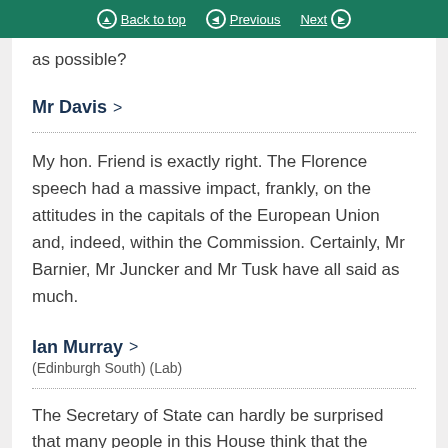Back to top | Previous | Next
as possible?
Mr Davis >
My hon. Friend is exactly right. The Florence speech had a massive impact, frankly, on the attitudes in the capitals of the European Union and, indeed, within the Commission. Certainly, Mr Barnier, Mr Juncker and Mr Tusk have all said as much.
Ian Murray >
(Edinburgh South) (Lab)
The Secretary of State can hardly be surprised that many people in this House think that the promises—